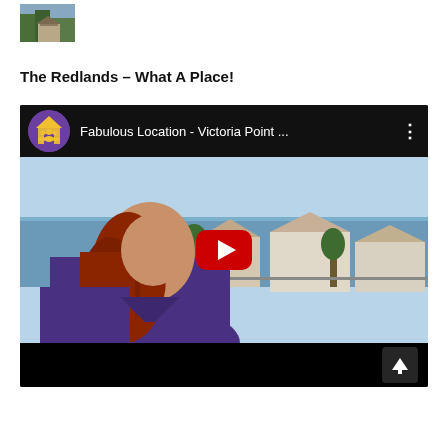[Figure (photo): Small thumbnail image of a building or house with trees]
The Redlands – What A Place!
[Figure (screenshot): YouTube video thumbnail showing a woman with long red hair in a purple shirt, with coastal suburban houses and ocean in the background. Video title: 'Fabulous Location - Victoria Point ...' with a YouTube play button overlay.]